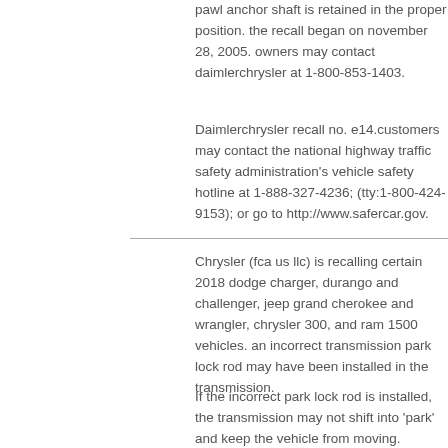pawl anchor shaft is retained in the proper position. the recall began on november 28, 2005. owners may contact daimlerchrysler at 1-800-853-1403.
Daimlerchrysler recall no. e14.customers may contact the national highway traffic safety administration's vehicle safety hotline at 1-888-327-4236; (tty:1-800-424-9153); or go to http://www.safercar.gov.
Chrysler (fca us llc) is recalling certain 2018 dodge charger, durango and challenger, jeep grand cherokee and wrangler, chrysler 300, and ram 1500 vehicles. an incorrect transmission park lock rod may have been installed in the transmission.
If the incorrect park lock rod is installed, the transmission may not shift into 'park' and keep the vehicle from moving. increasing the risk of